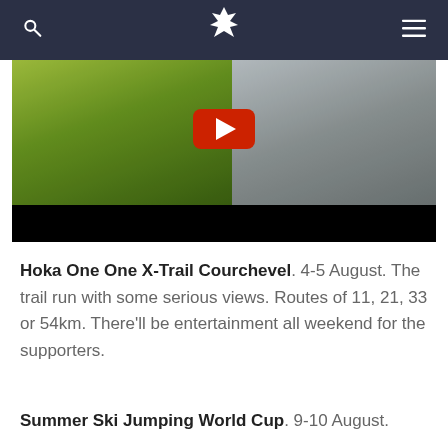Navigation bar with search icon, eagle logo, and menu icon
[Figure (screenshot): Video thumbnail showing a person in a yellow Hoka jacket on a mountain trail with a red play button overlay and black letterbox bar at bottom]
Hoka One One X-Trail Courchevel. 4-5 August. The trail run with some serious views. Routes of 11, 21, 33 or 54km. There'll be entertainment all weekend for the supporters.
Summer Ski Jumping World Cup. 9-10 August. This page was cut at bottom.